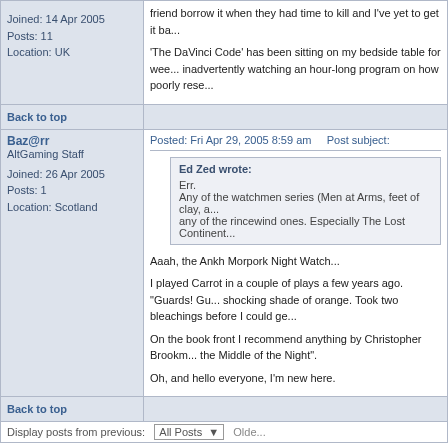Joined: 14 Apr 2005
Posts: 11
Location: UK
'The DaVinci Code' has been sitting on my bedside table for weeks... inadvertently watching an hour-long program on how poorlyrese...
Back to top
Baz@rr
AltGaming Staff
Posted: Fri Apr 29, 2005 8:59 am    Post subject:
Ed Zed wrote:
Err.
Any of the watchmen series (Men at Arms, feet of clay, a...
any of the rincewind ones. Especially The Lost Continent...
Aaah, the Ankh Morpork Night Watch...

I played Carrot in a couple of plays a few years ago. "Guards! Gu... shocking shade of orange. Took two bleachings before I could ge...

On the book front I recommend anything by Christopher Brookm... the Middle of the Night".

Oh, and hello everyone, I'm new here.
Joined: 26 Apr 2005
Posts: 1
Location: Scotland
Back to top
Display posts from previous:  All Posts   Older
AltGaming Forum Index -> General Off-Topic'ness
Page 2 of 2